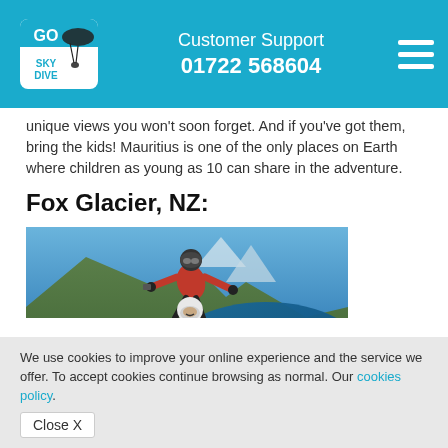Customer Support 01722 568604
unique views you won't soon forget. And if you've got them, bring the kids! Mauritius is one of the only places on Earth where children as young as 10 can share in the adventure.
Fox Glacier, NZ:
[Figure (photo): Two skydivers in tandem freefall over a mountainous lake landscape, both wearing helmets and jumpsuits. One in red, one below in white helmet.]
We use cookies to improve your online experience and the service we offer. To accept cookies continue browsing as normal. Our cookies policy.
Close X